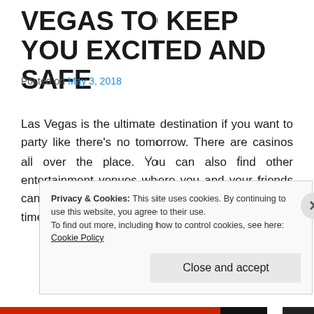VEGAS TO KEEP YOU EXCITED AND SAFE
Posted on May 3, 2018
Las Vegas is the ultimate destination if you want to party like there's no tomorrow. There are casinos all over the place. You can also find other entertainment venues where you and your friends can hang out. Why don't you try to spruce it up this time especially if you have been to Vegas before?
Privacy & Cookies: This site uses cookies. By continuing to use this website, you agree to their use.
To find out more, including how to control cookies, see here: Cookie Policy